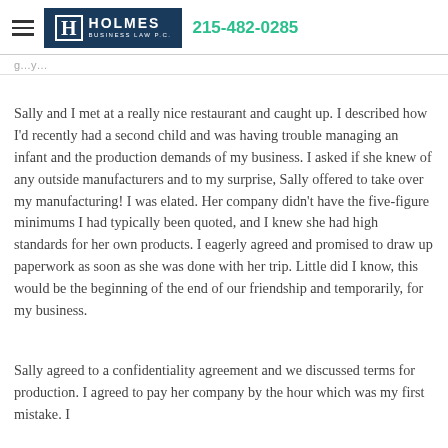Holmes Business Law P.C. | 215-482-0285
Sally and I met at a really nice restaurant and caught up.  I described how I'd recently had a second child and was having trouble managing an infant and the production demands of my business.  I asked if she knew of any outside manufacturers and to my surprise, Sally offered to take over my manufacturing!  I was elated.  Her company didn't have the five-figure minimums I had typically been quoted, and I knew she had high standards for her own products.  I eagerly agreed and promised to draw up paperwork as soon as she was done with her trip.  Little did I know, this would be the beginning of the end of our friendship and temporarily, for my business.
Sally agreed to a confidentiality agreement and we discussed terms for production.  I agreed to pay her company by the hour which was my first mistake.  I